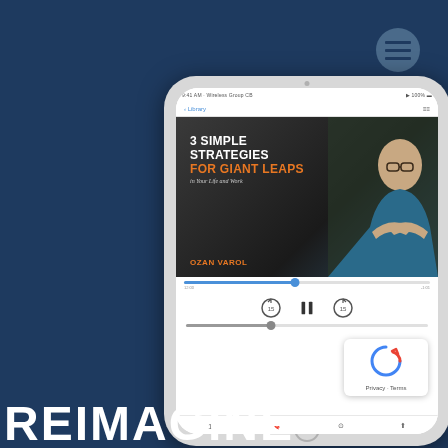[Figure (screenshot): Screenshot of an iPad displaying an audiobook app playing '3 Simple Strategies for Giant Leaps in Your Life and Work' by Ozan Varol, with playback controls visible]
[Figure (logo): reCAPTCHA badge in bottom right corner showing Privacy and Terms links]
REIMAGINE